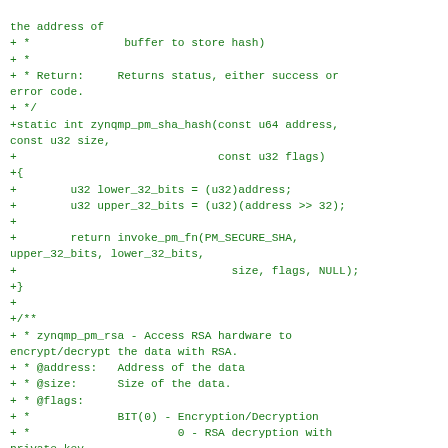the address of
+ *              buffer to store hash)
+ *
+ * Return:     Returns status, either success or error code.
+ */
+static int zynqmp_pm_sha_hash(const u64 address, const u32 size,
+                              const u32 flags)
+{
+        u32 lower_32_bits = (u32)address;
+        u32 upper_32_bits = (u32)(address >> 32);
+
+        return invoke_pm_fn(PM_SECURE_SHA, upper_32_bits, lower_32_bits,
+                                size, flags, NULL);
+}
+
+/**
+ * zynqmp_pm_rsa - Access RSA hardware to encrypt/decrypt the data with RSA.
+ * @address:   Address of the data
+ * @size:      Size of the data.
+ * @flags:
+ *             BIT(0) - Encryption/Decryption
+ *                      0 - RSA decryption with private key
+ *                      1 - RSA encryption with public key.
+ *